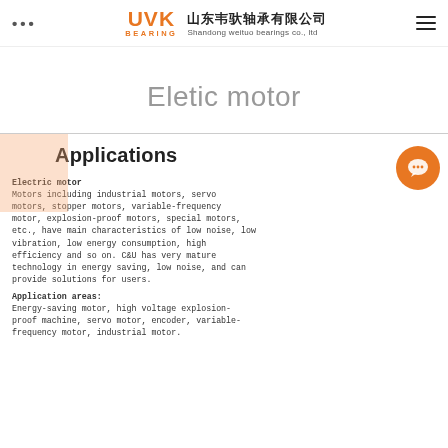UVK BEARING — 山东韦驮轴承有限公司 Shandong weituo bearings co., ltd
Eletic motor
Applications
Electric motor
Motors including industrial motors, servo motors, stopper motors, variable-frequency motor, explosion-proof motors, special motors, etc., have main characteristics of low noise, low vibration, low energy consumption, high efficiency and so on. C&U has very mature technology in energy saving, low noise, and can provide solutions for users.
Application areas:
Energy-saving motor, high voltage explosion-proof machine, servo motor, encoder, variable-frequency motor, industrial motor.